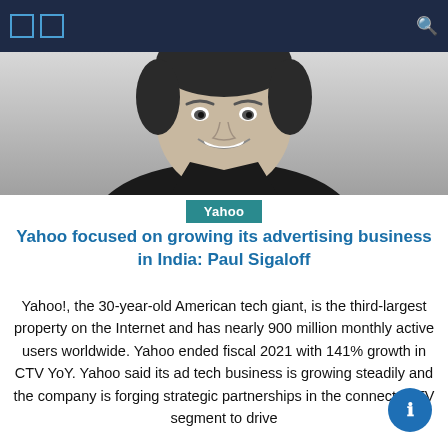[Figure (photo): Black and white professional headshot of a man (Paul Sigaloff) smiling, wearing a dark shirt]
Yahoo
Yahoo focused on growing its advertising business in India: Paul Sigaloff
Yahoo!, the 30-year-old American tech giant, is the third-largest property on the Internet and has nearly 900 million monthly active users worldwide. Yahoo ended fiscal 2021 with 141% growth in CTV YoY. Yahoo said its ad tech business is growing steadily and the company is forging strategic partnerships in the connected TV segment to drive